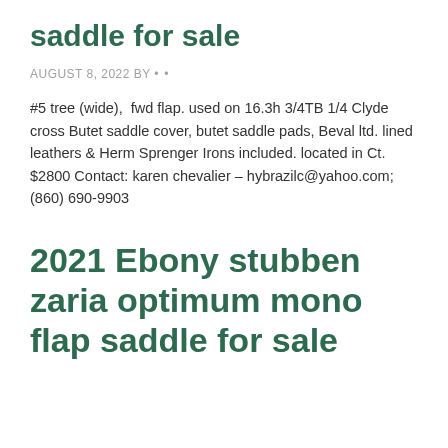saddle for sale
AUGUST 8, 2022 BY • •
#5 tree (wide),  fwd flap. used on 16.3h 3/4TB 1/4 Clyde cross Butet saddle cover, butet saddle pads, Beval ltd. lined leathers & Herm Sprenger Irons included. located in Ct. $2800 Contact: karen chevalier – hybrazilc@yahoo.com; (860) 690-9903
2021 Ebony stubben zaria optimum mono flap saddle for sale